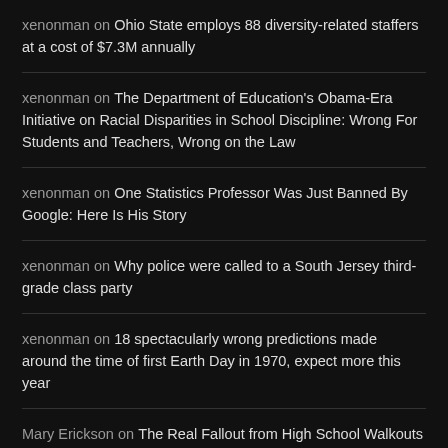xenonman on Ohio State employs 88 diversity-related staffers at a cost of $7.3M annually
xenonman on The Department of Education's Obama-Era Initiative on Racial Disparities in School Discipline: Wrong For Students and Teachers, Wrong on the Law
xenonman on One Statistics Professor Was Just Banned By Google: Here Is His Story
xenonman on Why police were called to a South Jersey third-grade class party
xenonman on 18 spectacularly wrong predictions made around the time of first Earth Day in 1970, expect more this year
Mary Erickson on The Real Fallout from High School Walkouts
RECENT POSTS
A Pennsylvania father's determined effort to find out what's being